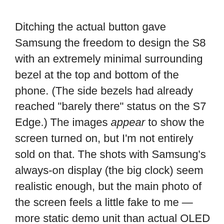Ditching the actual button gave Samsung the freedom to design the S8 with an extremely minimal surrounding bezel at the top and bottom of the phone. (The side bezels had already reached "barely there" status on the S7 Edge.) The images appear to show the screen turned on, but I'm not entirely sold on that. The shots with Samsung's always-on display (the big clock) seem realistic enough, but the main photo of the screen feels a little fake to me — more static demo unit than actual OLED display. Still, these shots align with a previous leak from VentureBeat. Those photos showed the S8 in silver, while these appear to be the black model (with a glossy black aluminum